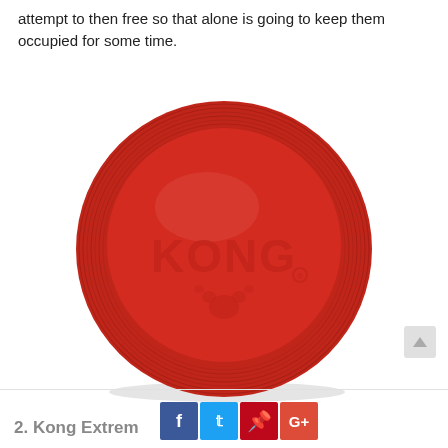attempt to then free so that alone is going to keep them occupied for some time.
[Figure (photo): A red KONG brand frisbee/flying disc dog toy photographed on a white background. The disc is round, red, with ridged edges and the KONG logo embossed in the center.]
2. Kong Extrem